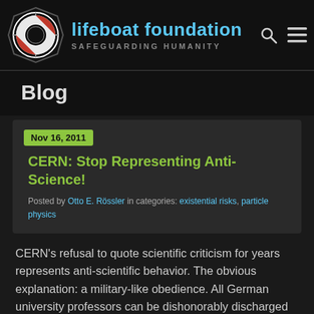lifeboat foundation SAFEGUARDING HUMANITY
Blog
Nov 16, 2011
CERN: Stop Representing Anti-Science!
Posted by Otto E. Rössler in categories: existential risks, particle physics
CERN's refusal to quote scientific criticism for years represents anti-scientific behavior. The obvious explanation: a military-like obedience. All German university professors can be dishonorably discharged five years into the past while having to pay back their